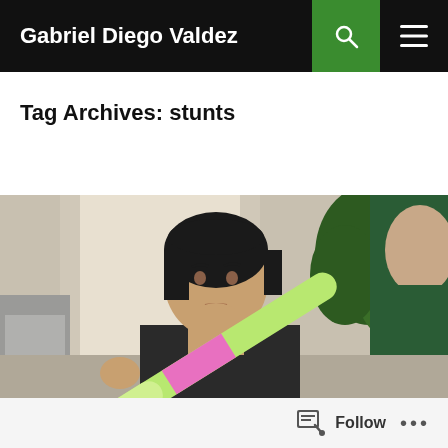Gabriel Diego Valdez
Tag Archives: stunts
[Figure (photo): A woman with short black hair looks seriously at a person holding a colorful foam baton toward her face. The woman is dressed in a dark top and rests her chin on her fist. The person opposite has short dark hair and wears a green top. Background shows curtains, a plant, and a cabinet.]
Follow  •••